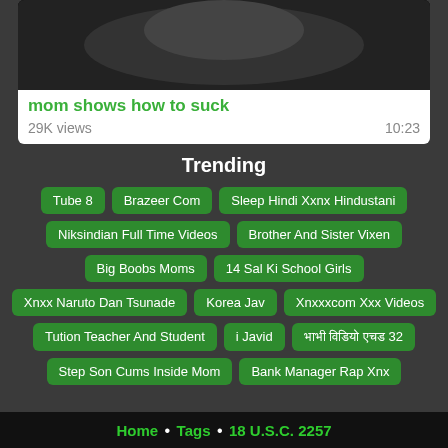[Figure (photo): Dark video thumbnail showing close-up image]
mom shows how to suck
29K views  10:23
Trending
Tube 8
Brazeer Com
Sleep Hindi Xxnx Hindustani
Niksindian Full Time Videos
Brother And Sister Vixen
Big Boobs Moms
14 Sal Ki School Girls
Xnxx Naruto Dan Tsunade
Korea Jav
Xnxxxcom Xxx Videos
Tution Teacher And Student
i Javid
भाभी विडियो एचड 32
Step Son Cums Inside Mom
Bank Manager Rap Xnx
Home • Tags • 18 U.S.C. 2257